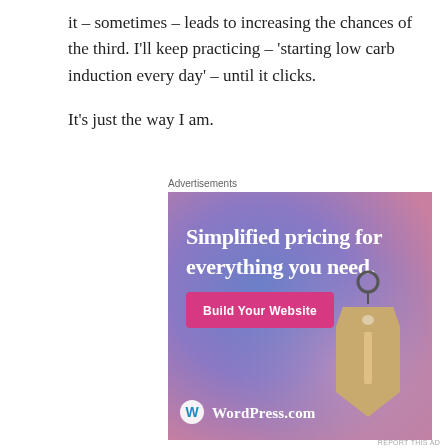it – sometimes – leads to increasing the chances of the third. I'll keep practicing – 'starting low carb induction every day' – until it clicks.

It's just the way I am.
Advertisements
[Figure (illustration): WordPress.com advertisement banner with gradient blue-purple background, price tag illustration, 'Simplified pricing for everything you need.' heading in white, pink 'Build Your Website' button, and WordPress.com logo at bottom left.]
REPORT THIS AD